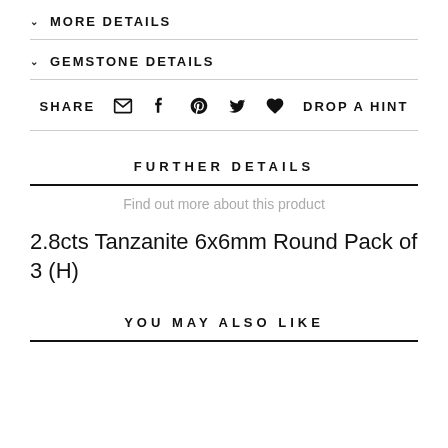MORE DETAILS
GEMSTONE DETAILS
SHARE  DROP A HINT
FURTHER DETAILS
Find out more about this product
2.8cts Tanzanite 6x6mm Round Pack of 3 (H)
YOU MAY ALSO LIKE